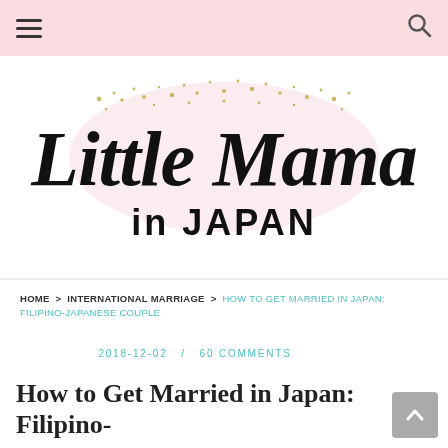Little Mama in JAPAN — navigation bar with hamburger menu and search icon
[Figure (logo): Little Mama in JAPAN blog logo — cursive script 'Little Mama' over 'in JAPAN' in bold sans-serif, with gold dot decorations on a light pink/white background]
HOME > INTERNATIONAL MARRIAGE > HOW TO GET MARRIED IN JAPAN: FILIPINO-JAPANESE COUPLE
2018-12-02  /  60 COMMENTS
How to Get Married in Japan: Filipino-